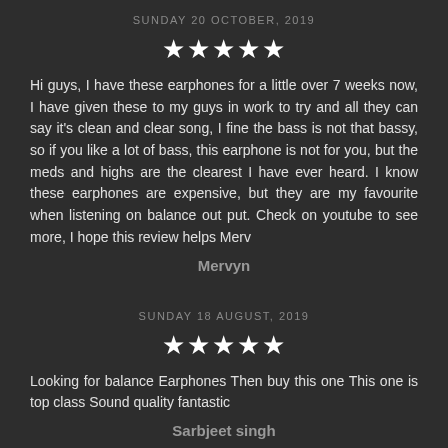SUNDAY 20 OCTOBER, 2019
[Figure (other): Five white star rating icons]
Hi guys, I have these earphones for a little over 7 weeks now, I have given these to my guys in work to try and all they can say it's clean and clear song, I fine the bass is not that bassy, so if you like a lot of bass, this earphone is not for you, but the meds and highs are the clearest I have ever heard. I know these earphones are expensive, but they are my favourite when listening on balance out put. Check on youtube to see more, I hope this review helps Merv
Mervyn
SUNDAY 18 AUGUST, 2019
[Figure (other): Five white star rating icons]
Looking for balance Earphones Then buy this one This one is top class Sound quality fantastic
Sarbjeet singh